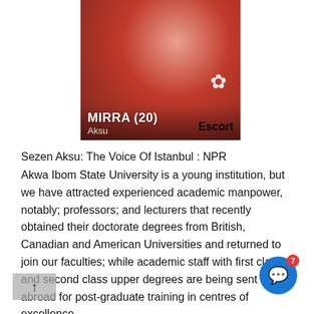[Figure (photo): Photo of a person in a red swimsuit with text overlay showing MIRRA (20), Aksu, Escort]
Sezen Aksu: The Voice Of Istanbul : NPR
Akwa Ibom State University is a young institution, but we have attracted experienced academic manpower, notably; professors; and lecturers that recently obtained their doctorate degrees from British, Canadian and American Universities and returned to join our faculties; while academic staff with first class and second class upper degrees are being sent abroad for post-graduate training in centres of excellence.
Consequently, our degree programmes are very current in